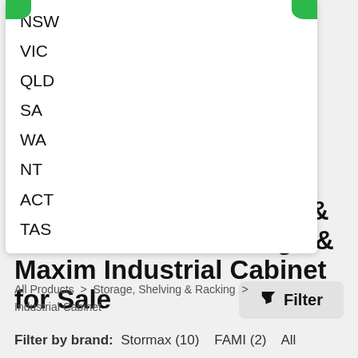NSW
VIC
QLD
SA
WA
NT
ACT
TAS
Find a Tanko & Knaack & Case Ih & Joels Garage & Maxim Industrial Cabinet for Sale
All Products > Storage, Shelving & Racking > Industrial Cabinet
Filter by brand: Stormax (10)   FAMI (2)   All